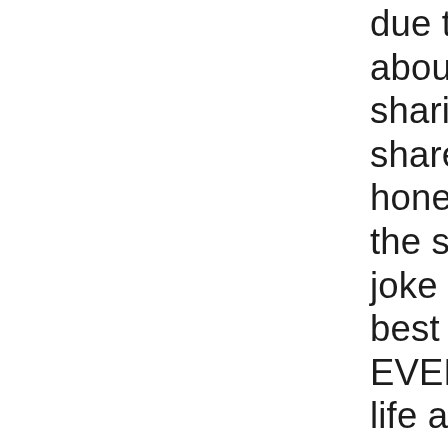due to heroin. I have no doubt about that. Again Thank you s sharing your story it is importa share our stories with each oth honestly so another person doe the same trap. The seduction o joke and ANYONE can be it's n best thing you can do is don't f EVER. It is not that great. It is n life and the heartbreak of your see what it's like. Please I beg c changes the chemistry in your become to where you can not or happiness with out it and it f for your brain to recuperate an some pretty sad years where y not function properly. Why do so hard to stop? People just wo happiness again. Without har